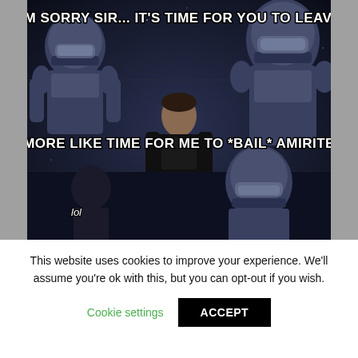[Figure (photo): Star Wars meme with clone troopers and a man in dark clothing. Three panels: Top text reads 'I'M SORRY SIR... IT'S TIME FOR YOU TO LEAVE', middle text reads 'MORE LIKE TIME FOR ME TO *BAIL* AMIRITE', bottom panel shows figure with text 'lol'. Dark sci-fi setting with armored soldiers.]
Load More...
Follow on Instagram
This website uses cookies to improve your experience. We'll assume you're ok with this, but you can opt-out if you wish.
Cookie settings
ACCEPT